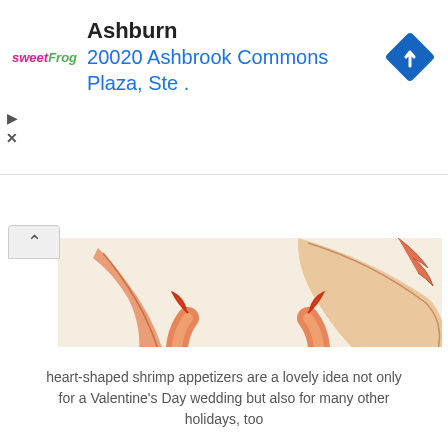[Figure (infographic): Sweet Frog advertisement banner showing logo, location 'Ashburn', address '20020 Ashbrook Commons Plaza, Ste .' and a blue navigation diamond icon]
[Figure (photo): Heart-shaped shrimp appetizers arranged on a white plate, photographed from above at an angle]
heart-shaped shrimp appetizers are a lovely idea not only for a Valentine's Day wedding but also for many other holidays, too